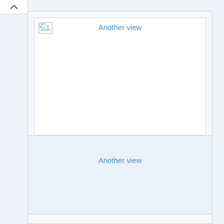[Figure (screenshot): UI panel showing a collapsed/expanded section toggle button (caret up) in top-left corner, followed by two content panels. The first panel contains a white image placeholder box with a broken image icon and the text 'Another view' as its title. The second panel below is light blue and also labeled 'Another view'. A partial third panel is visible at the bottom edge.]